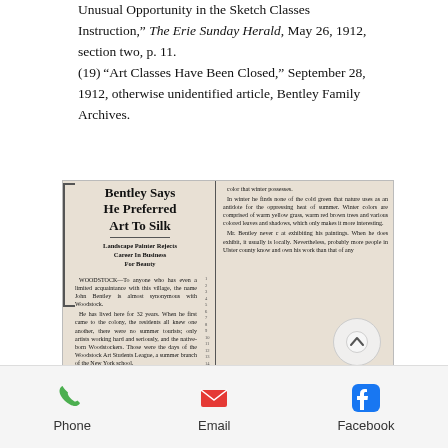Unusual Opportunity in the Sketch Classes Instruction," The Erie Sunday Herald, May 26, 1912, section two, p. 11. (19) "Art Classes Have Been Closed," September 28, 1912, otherwise unidentified article, Bentley Family Archives.
[Figure (photo): Scanned newspaper clipping with headline 'Bentley Says He Preferred Art To Silk', subheadline 'Landscape Painter Rejects Career In Business For Beauty', with two columns of article text about John Bentley of Woodstock. A circular scroll-up button overlays the image.]